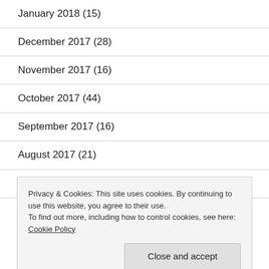January 2018 (15)
December 2017 (28)
November 2017 (16)
October 2017 (44)
September 2017 (16)
August 2017 (21)
July 2017 (21)
June 2017 (30)
Privacy & Cookies: This site uses cookies. By continuing to use this website, you agree to their use.
To find out more, including how to control cookies, see here: Cookie Policy